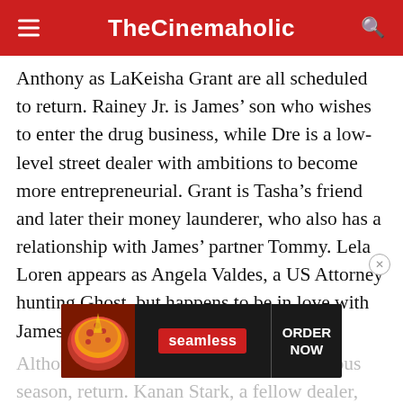TheCinemaholic
Anthony as LaKeisha Grant are all scheduled to return. Rainey Jr. is James’ son who wishes to enter the drug business, while Dre is a low-level street dealer with ambitions to become more entrepreneurial. Grant is Tasha’s friend and later their money launderer, who also has a relationship with James’ partner Tommy. Lela Loren appears as Angela Valdes, a US Attorney hunting Ghost, but happens to be in love with James.
Although we see her get shot in the previous season, return. Kanan Stark, a fellow dealer, and
[Figure (screenshot): Seamless food delivery advertisement banner showing pizza image on left, red Seamless logo badge in center, and ORDER NOW text on right, on dark background.]